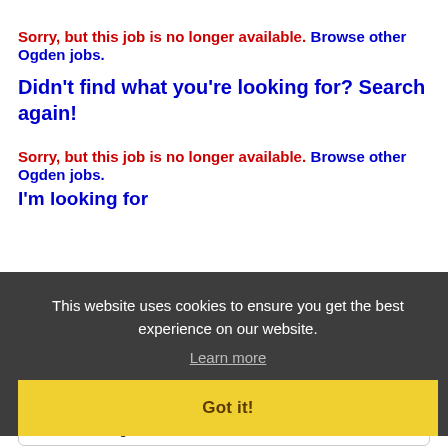Sorry, but this job is no longer available. Browse other Ogden jobs.
Didn't find what you're looking for? Search again!
Sorry, but this job is no longer available. Browse other Ogden jobs.
I'm looking for
This website uses cookies to ensure you get the best experience on our website.
Learn more
in category
ALL
Got it!
within
100 Miles of Ogden